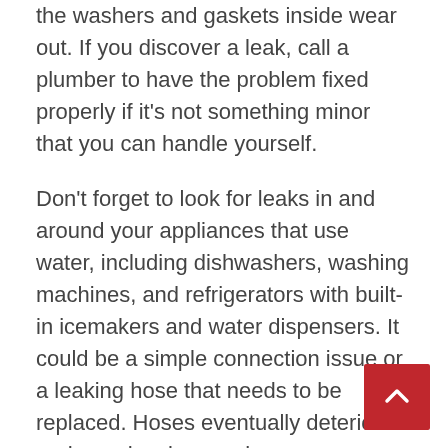the washers and gaskets inside wear out. If you discover a leak, call a plumber to have the problem fixed properly if it's not something minor that you can handle yourself.
Don't forget to look for leaks in and around your appliances that use water, including dishwashers, washing machines, and refrigerators with built-in icemakers and water dispensers. It could be a simple connection issue or a leaking hose that needs to be replaced. Hoses eventually deteriorate and can develop cracks.
While you're looking for leaks, check out the condition of the pipes and hoses in your home. Components can corrode or crack over time. Even if they're not leaking yet, they could be close to leaking if they show signs of deterioration.